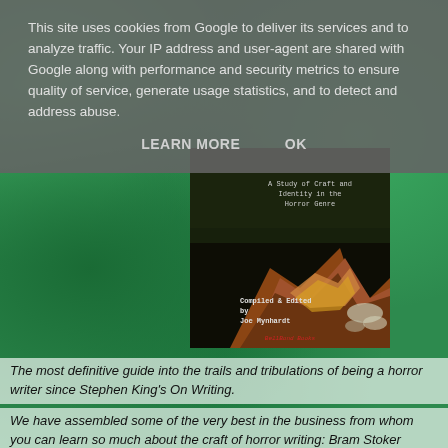This site uses cookies from Google to deliver its services and to analyze traffic. Your IP address and user-agent are shared with Google along with performance and security metrics to ensure quality of service, generate usage statistics, and to detect and address abuse.
LEARN MORE    OK
[Figure (photo): Book cover: A Study of Craft and Identity in the Horror Genre, Compiled & Edited by Joe Mynhardt, BellBond Books. Dark moody image with orange and black tones.]
The most definitive guide into the trails and tribulations of being a horror writer since Stephen King's On Writing.
We have assembled some of the very best in the business from whom you can learn so much about the craft of horror writing: Bram Stoker Award© winners, bestselling authors, a President of the Horror Writers' Association,